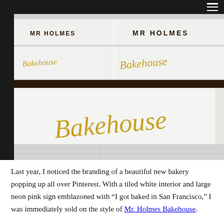[Figure (photo): Photo of Mr. Holmes Bakehouse branded white pastry boxes stacked on a white tiled counter shelf. The boxes display 'MR HOLMES' printed in dark block letters and 'Bakehouse' written in gold cursive script at various sizes, growing larger toward the foreground. White subway tile wall is visible in the background.]
Last year, I noticed the branding of a beautiful new bakery popping up all over Pinterest. With a tiled white interior and large neon pink sign emblazoned with “I got baked in San Francisco,” I was immediately sold on the style of Mr. Holmes Bakehouse.